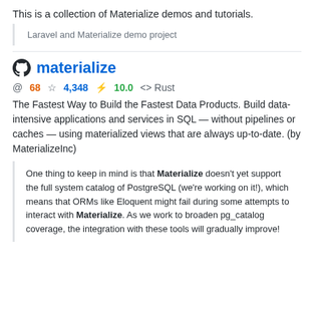This is a collection of Materialize demos and tutorials.
Laravel and Materialize demo project
materialize
@ 68  ☆ 4,348  ⚡ 10.0  <> Rust
The Fastest Way to Build the Fastest Data Products. Build data-intensive applications and services in SQL — without pipelines or caches — using materialized views that are always up-to-date. (by MaterializeInc)
One thing to keep in mind is that Materialize doesn't yet support the full system catalog of PostgreSQL (we're working on it!), which means that ORMs like Eloquent might fail during some attempts to interact with Materialize. As we work to broaden pg_catalog coverage, the integration with these tools will gradually improve!